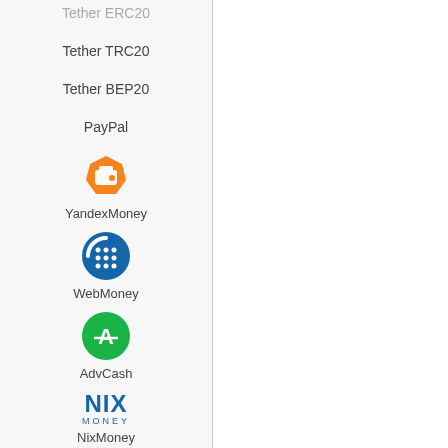Tether ERC20
Tether TRC20
Tether BEP20
PayPal
[Figure (logo): YandexMoney orange hexagon wallet logo]
YandexMoney
[Figure (logo): WebMoney blue circle with dots grid logo]
WebMoney
[Figure (logo): AdvCash green circle with stylized A logo]
AdvCash
[Figure (logo): NixMoney blue NIX MONEY text logo]
NixMoney
[Figure (logo): QIWI orange Q circle logo]
QIWI
[Figure (logo): Green circle person/account logo (partially visible)]